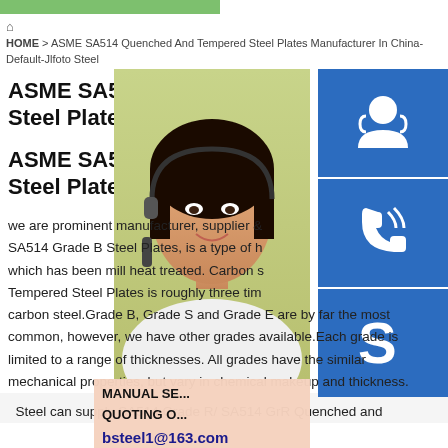[Figure (illustration): Green decorative bar at top of page]
HOME > ASME SA514 Quenched And Tempered Steel Plates Manufacturer In China-Default-Jlfoto Steel
ASME SA514 Quenched An Steel Plates Manufacturer In
ASME SA514 Quenched An Steel Plates Manufacturer In
[Figure (photo): Woman with headset/customer service representative photo]
[Figure (illustration): Blue icon button with headset/support icon]
[Figure (illustration): Blue icon button with phone/call icon]
[Figure (illustration): Blue icon button with Skype icon]
MANUAL SE... QUOTING O... bsteel1@163.com
we are prominent manufacturer, supplier & SA514 Grade B Steel Plates, is a type of h which has been mill heat treated. Carbon S Tempered Steel Plates is roughly three tim carbon steel.Grade B, Grade S and Grade E are by far the most common, however, we have other grades available.Each grade is limited to a range of thicknesses. All grades have the similar mechanical properties, but vary in chemical makeup and thickness.
Steel can supply SA514 Grade R/ SA514 GrR Quenched and